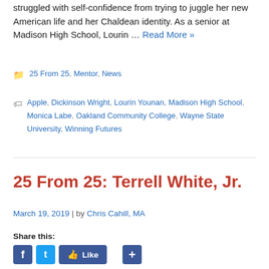struggled with self-confidence from trying to juggle her new American life and her Chaldean identity. As a senior at Madison High School, Lourin … Read More »
Categories: 25 From 25, Mentor, News
Tags: Apple, Dickinson Wright, Lourin Younan, Madison High School, Monica Labe, Oakland Community College, Wayne State University, Winning Futures
25 From 25: Terrell White, Jr.
March 19, 2019 | by Chris Cahill, MA
Share this: